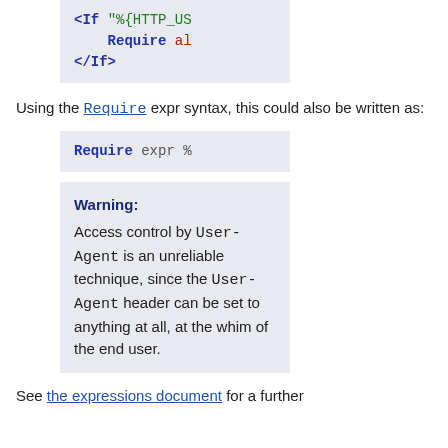[Figure (screenshot): Code block showing Apache config: <If "%{HTTP_US... Require al... </If>]
Using the Require expr syntax, this could also be written as:
[Figure (screenshot): Code block showing: Require expr %...]
Warning: Access control by User-Agent is an unreliable technique, since the User-Agent header can be set to anything at all, at the whim of the end user.
See the expressions document for a further